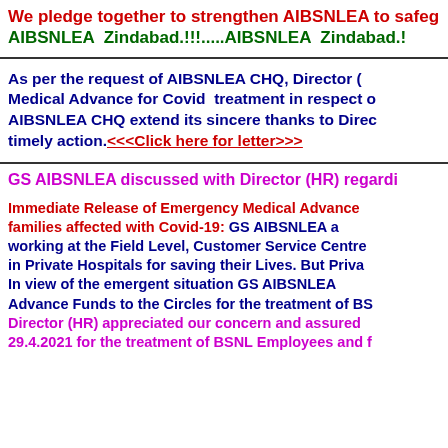We pledge together to strengthen AIBSNLEA to safeg... AIBSNLEA Zindabad.!!!.....AIBSNLEA Zindabad.!
As per the request of AIBSNLEA CHQ, Director (... Medical Advance for Covid treatment in respect o... AIBSNLEA CHQ extend its sincere thanks to Direc... timely action. <<<Click here for letter>>>
GS AIBSNLEA discussed with Director (HR) regardi...
Immediate Release of Emergency Medical Advance... families affected with Covid-19: GS AIBSNLEA ap... working at the Field Level, Customer Service Centre... in Private Hospitals for saving their Lives. But Priva... In view of the emergent situation GS AIBSNLEA... Advance Funds to the Circles for the treatment of BS... Director (HR) appreciated our concern and assured... 29.4.2021 for the treatment of BSNL Employees and f...